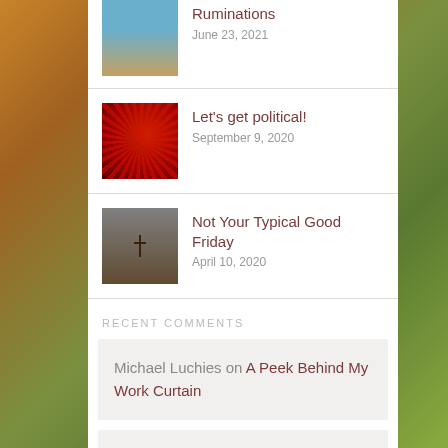Ruminations — June 23, 2021
Let's get political! — September 9, 2020
Not Your Typical Good Friday — April 10, 2020
RECENT COMMENTS
Michael Luchies on A Peek Behind My Work Curtain
GENDRON 77 on Which Word